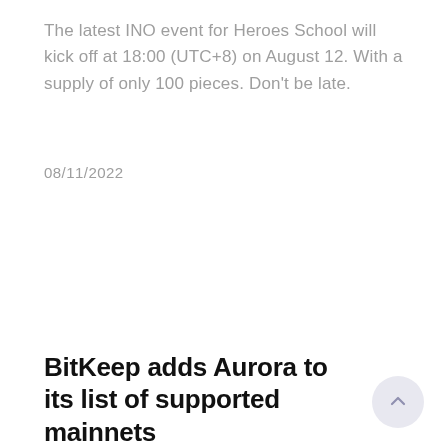The latest INO event for Heroes School will kick off at 18:00 (UTC+8) on August 12. With a supply of only 100 pieces. Don't be late.
08/11/2022
BitKeep adds Aurora to its list of supported mainnets